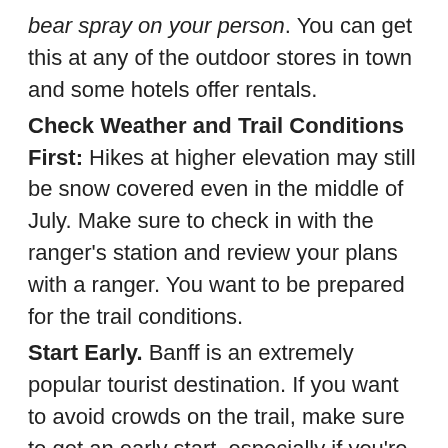bear spray on your person. You can get this at any of the outdoor stores in town and some hotels offer rentals.
Check Weather and Trail Conditions First: Hikes at higher elevation may still be snow covered even in the middle of July. Make sure to check in with the ranger's station and review your plans with a ranger. You want to be prepared for the trail conditions.
Start Early. Banff is an extremely popular tourist destination. If you want to avoid crowds on the trail, make sure to get an early start, especially if you're doing a well-known route.
OK, now to the fun stuff! The best hikes in Banff by difficulty: